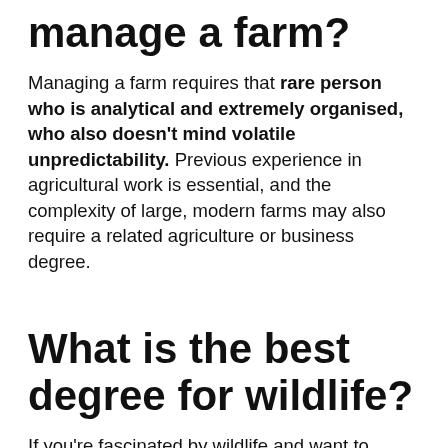manage a farm?
Managing a farm requires that rare person who is analytical and extremely organised, who also doesn't mind volatile unpredictability. Previous experience in agricultural work is essential, and the complexity of large, modern farms may also require a related agriculture or business degree.
What is the best degree for wildlife?
If you're fascinated by wildlife and want to